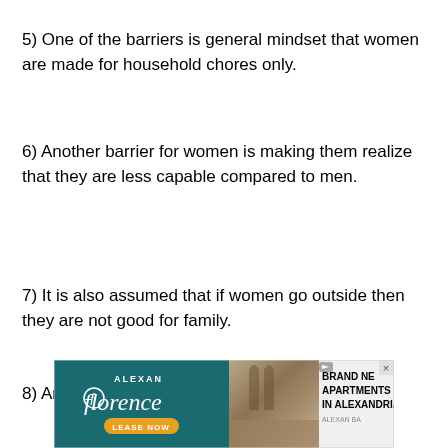5) One of the barriers is general mindset that women are made for household chores only.
6) Another barrier for women is making them realize that they are less capable compared to men.
7) It is also assumed that if women go outside then they are not good for family.
8) Another barrier is the safety issues as people
[Figure (other): Advertisement banner for Alexan Florence apartments — 'Brand New Apartments in Alexandria, Lease Now']